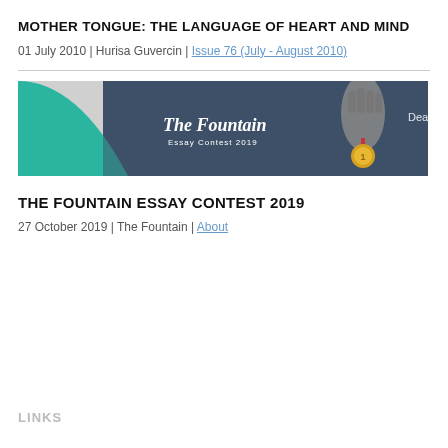MOTHER TONGUE: THE LANGUAGE OF HEART AND MIND
01 July 2010 | Hurisa Guvercin | Issue 76 (July - August 2010)
[Figure (illustration): The Fountain Essay Contest 2019 banner with teal and dark blue design, featuring a hand holding a gold medal, and text 'The Fountain Essay Contest 2019']
THE FOUNTAIN ESSAY CONTEST 2019
27 October 2019 | The Fountain | About
LINKS